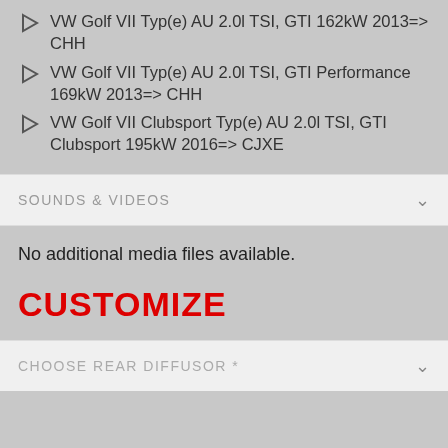VW Golf VII Typ(e) AU 2.0l TSI, GTI 162kW 2013=> CHH
VW Golf VII Typ(e) AU 2.0l TSI, GTI Performance 169kW 2013=> CHH
VW Golf VII Clubsport Typ(e) AU 2.0l TSI, GTI Clubsport 195kW 2016=> CJXE
SOUNDS & VIDEOS
No additional media files available.
CUSTOMIZE
CHOOSE REAR DIFFUSOR *